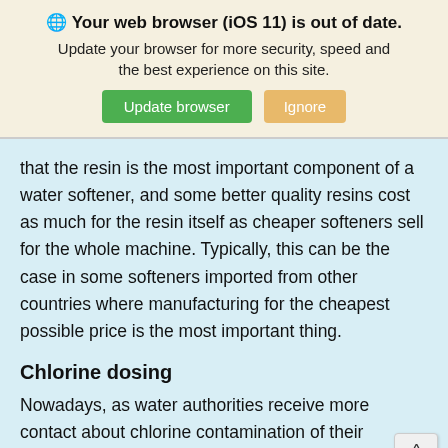🌐 Your web browser (iOS 11) is out of date. Update your browser for more security, speed and the best experience on this site. [Update browser] [Ignore]
that the resin is the most important component of a water softener, and some better quality resins cost as much for the resin itself as cheaper softeners sell for the whole machine. Typically, this can be the case in some softeners imported from other countries where manufacturing for the cheapest possible price is the most important thing.
Chlorine dosing
Nowadays, as water authorities receive more contact about chlorine contamination of their softeners from the public, chlorine dosing